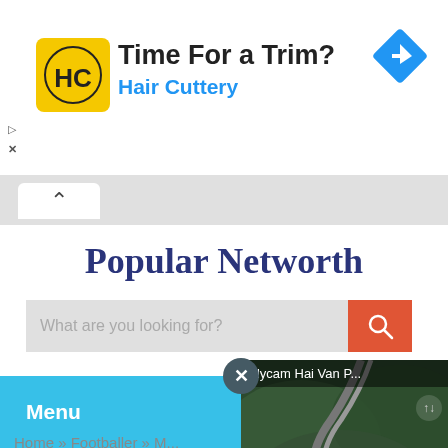[Figure (screenshot): Advertisement banner for Hair Cuttery with yellow HC logo, title 'Time For a Trim?' and blue subtitle 'Hair Cuttery', blue navigation diamond icon on right]
Popular Networth
[Figure (screenshot): Search bar with placeholder text 'What are you looking for?' and orange search button with magnifying glass icon]
[Figure (screenshot): Sky blue menu bar with 'Menu' text and hamburger icon, with video overlay showing 'Flycam Hai Van P...' drone footage of mountain road with play button]
Home » Footballer » M...